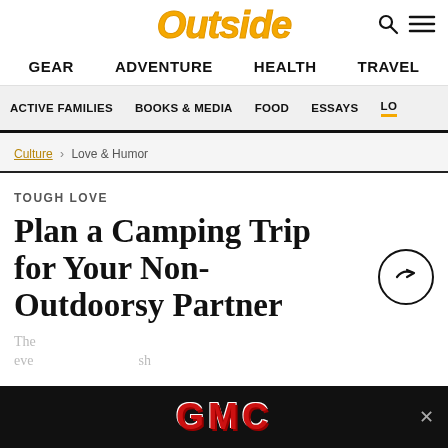Outside
GEAR  ADVENTURE  HEALTH  TRAVEL
ACTIVE FAMILIES  BOOKS & MEDIA  FOOD  ESSAYS  LO...
Culture > Love & Humor
TOUGH LOVE
Plan a Camping Trip for Your Non-Outdoorsy Partner
The eve... sh